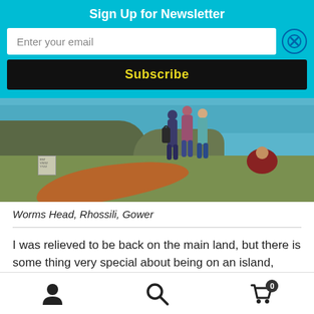Sign Up for Newsletter
Enter your email
Subscribe
[Figure (photo): People standing on coastal headland at Worms Head, Rhossili, Gower. Blue sky and water in background, grassy terrain with dirt path.]
Worms Head, Rhossili, Gower
I was relieved to be back on the main land, but there is some thing very special about being on an island, even if